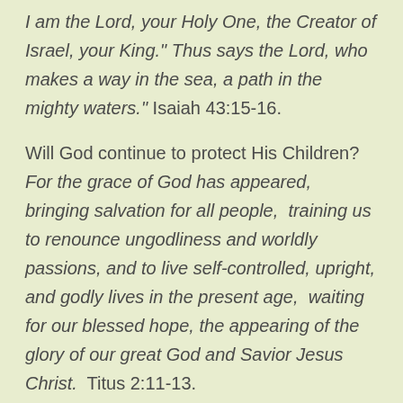I am the Lord, your Holy One, the Creator of Israel, your King." Thus says the Lord, who makes a way in the sea, a path in the mighty waters." Isaiah 43:15-16.
Will God continue to protect His Children? For the grace of God has appeared, bringing salvation for all people,  training us to renounce ungodliness and worldly passions, and to live self-controlled, upright, and godly lives in the present age,  waiting for our blessed hope, the appearing of the glory of our great God and Savior Jesus Christ.  Titus 2:11-13.